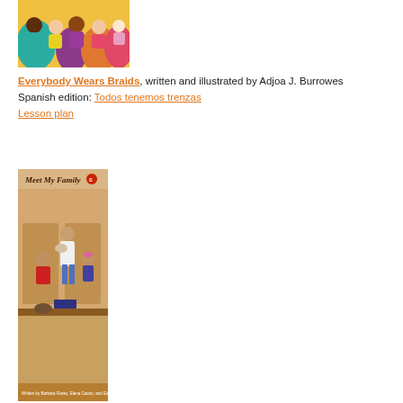[Figure (illustration): Book cover illustration showing four diverse children holding hands, colorful background with teal, orange, purple, and pink colors]
Everybody Wears Braids, written and illustrated by Adjoa J. Burrowes
Spanish edition: Todos tenemos trenzas
Lesson plan
[Figure (photo): Book cover of 'Meet My Family' showing a family photo with a woman holding a baby, a man in a red shirt, and a young girl, seated at a table]